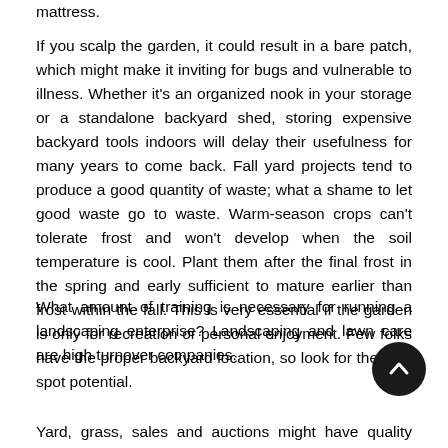mattress.
If you scalp the garden, it could result in a bare patch, which might make it inviting for bugs and vulnerable to illness. Whether it's an organized nook in your storage or a standalone backyard shed, storing expensive backyard tools indoors will delay their usefulness for many years to come back. Fall yard projects tend to produce a good quantity of waste; what a shame to let good waste go to waste. Warm-season crops can't tolerate frost and won't develop when the soil temperature is cool. Plant them after the final frost in the spring and early sufficient to mature earlier than frost within the fall. This is very essential if the garden is only for recreation or personal enjoyment. Few folks have the proper backyard location, so look for the best spot potential.
What amount of training is necessary for running a landscaping enterprise? Landscaping and lawn care are high turnover companies.
Yard, grass, sales and auctions might have quality pieces at better